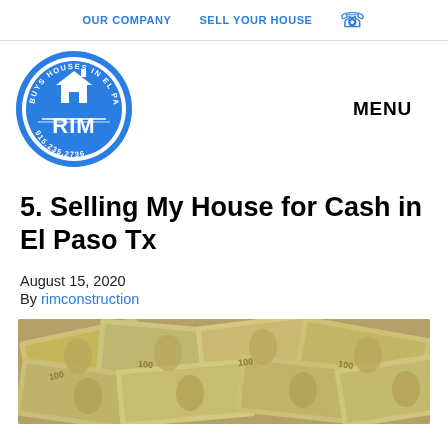OUR COMPANY   SELL YOUR HOUSE
[Figure (logo): RIM circular logo — blue circle with text 'BUYS HOUSES IN EL PASO TX' around the rim, house icon, RIM text in white, and phone number 915.235.2736]
MENU
5. Selling My House for Cash in El Paso Tx
August 15, 2020
By rimconstruction
[Figure (photo): Scattered US $100 dollar bills covering the entire frame]